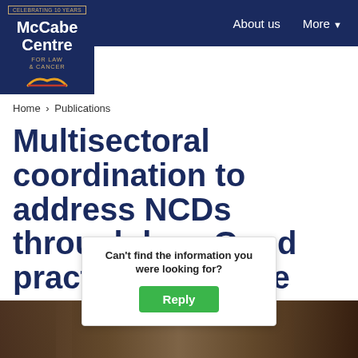[Figure (logo): McCabe Centre for Law & Cancer logo — dark navy square with 'CELEBRATING 10 YEARS' banner, organisation name in white, gold 'FOR LAW & CANCER' text, and a golden open-book graphic]
About us   More
Home > Publications
Multisectoral coordination to address NCDs through law: Good practices from the Western Pacific Region
[Figure (photo): Partial photo strip showing people in a meeting or conference room setting]
Can't find the information you were looking for?
Reply